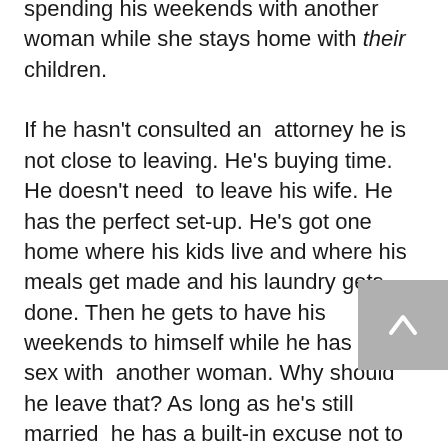spending his weekends with another woman while she stays home with their children.

If he hasn't consulted an attorney he is not close to leaving. He's buying time. He doesn't need to leave his wife. He has the perfect set-up. He's got one home where his kids live and where his meals get made and his laundry gets done. Then he gets to have his weekends to himself while he has great sex with another woman. Why should he leave that? As long as he's still married he has a built-in excuse not to make things official with you. Which they are not, by the way. He's still very much married and has an